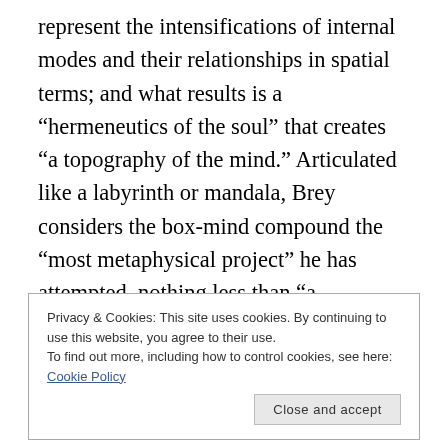represent the intensifications of internal modes and their relationships in spatial terms; and what results is a “hermeneutics of the soul” that creates “a topography of the mind.” Articulated like a labyrinth or mandala, Brey considers the box-mind compound the “most metaphysical project” he has attempted, nothing less than “a workshop to produce the invisible” or “the countless” that is also “the way out and the jail.”[10]  The attempt to articulate the inarticulable, visualize the unseen, expose blind spots through elaborate archiving and representation and
Privacy & Cookies: This site uses cookies. By continuing to use this website, you agree to their use.
To find out more, including how to control cookies, see here: Cookie Policy
Close and accept